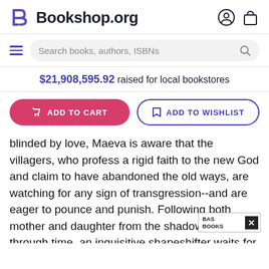Bookshop.org
Search books, authors, ISBNs
$21,908,595.92 raised for local bookstores
ADD TO CART
ADD TO WISHLIST
blinded by love, Maeva is aware that the villagers, who profess a rigid faith to the new God and claim to have abandoned the old ways, are watching for any sign of transgression--and are eager to pounce and punish. Following both mother and daughter from the shadows and through time, an inquisitive shapeshifter waits for the Fa___
reclaim past
begins ___er
daught hright
[Figure (screenshot): BAS BOOKS popup with close X button overlay on book description text]